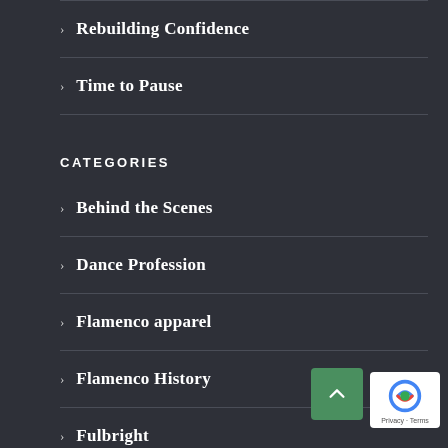Rebuilding Confidence
Time to Pause
CATEGORIES
Behind the Scenes
Dance Profession
Flamenco apparel
Flamenco History
Fulbright